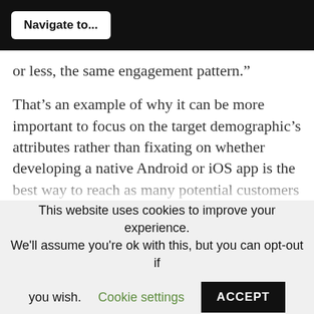Navigate to...
or less, the same engagement pattern.”
That’s an example of why it can be more important to focus on the target demographic’s attributes rather than fixating on whether developing a native Android or iOS app is the best way to reach as many potential customers as possible.
“I don’t think the usage gap justifies [targeting] one over the other,” Podjarny says. “I would look at statistics around conversion percentages, how likely iOS…
This website uses cookies to improve your experience. We’ll assume you’re ok with this, but you can opt-out if you wish. Cookie settings ACCEPT